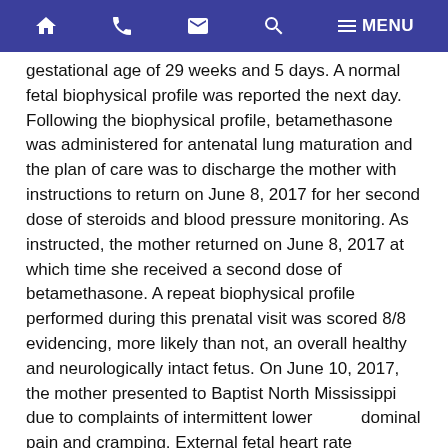Navigation bar with home, phone, email, search, and menu icons
gestational age of 29 weeks and 5 days. A normal fetal biophysical profile was reported the next day. Following the biophysical profile, betamethasone was administered for antenatal lung maturation and the plan of care was to discharge the mother with instructions to return on June 8, 2017 for her second dose of steroids and blood pressure monitoring. As instructed, the mother returned on June 8, 2017 at which time she received a second dose of betamethasone. A repeat biophysical profile performed during this prenatal visit was scored 8/8 evidencing, more likely than not, an overall healthy and neurologically intact fetus. On June 10, 2017, the mother presented to Baptist North Mississippi due to complaints of intermittent lower abdominal pain and cramping. External fetal heart rate monitoring was initiated on the mother shortly after arrival, which was reported as an overall reassuring Category I tracing. However, the mother was hypertensive with a